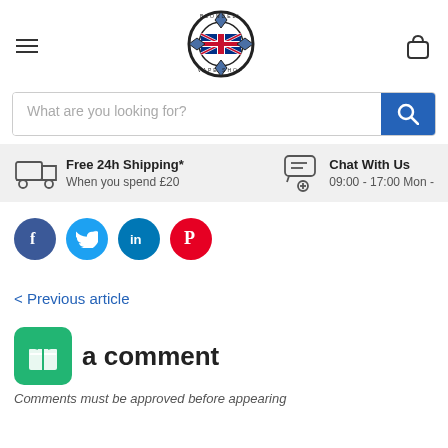[Figure (logo): Blondell Vape Shop circular logo with UK flag in center]
What are you looking for?
Free 24h Shipping* When you spend £20
Chat With Us 09:00 - 17:00 Mon -
[Figure (infographic): Social media icons: Facebook, Twitter, LinkedIn, Pinterest]
< Previous article
[Figure (illustration): Green gift box icon]
Leave a comment
Comments must be approved before appearing